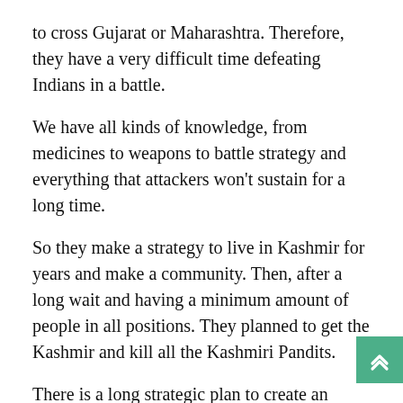to cross Gujarat or Maharashtra. Therefore, they have a very difficult time defeating Indians in a battle.
We have all kinds of knowledge, from medicines to weapons to battle strategy and everything that attackers won't sustain for a long time.
So they make a strategy to live in Kashmir for years and make a community. Then, after a long wait and having a minimum amount of people in all positions. They planned to get the Kashmir and kill all the Kashmiri Pandits.
There is a long strategic plan to create an Islamic constitution in Kashmir. Oh yes, a political angle will be discussed in the next article.
When you corrupt the brain, the whole body function will stop, and it won't react. In January 1990, the attack